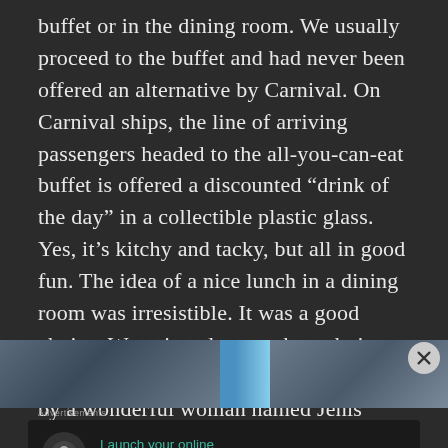buffet or in the dining room. We usually proceed to the buffet and had never been offered an alternative by Carnival. On Carnival ships, the line of arriving passengers headed to the all-you-can-eat buffet is offered a discounted "drink of the day" in a collectible plastic glass. Yes, it's kitchy and tacky, but all in good fun. The idea of a nice lunch in a dining room was irresistible. It was a good choice. We enjoyed a tasty brunch, in a holiday decorated dining room, served by a wonderful woman named Jenis from Columbia who became one of the highlights of our trip. Here I would give kudos to Norwegian.
[Figure (photo): Partial strip of photos showing cruise or travel imagery, partially obscured by advertisement overlay]
Advertisements
[Figure (infographic): Advertisement banner: dark background with circular icon showing a tree/person silhouette, teal text 'Launch your online course with WordPress', and 'Learn More' call-to-action button]